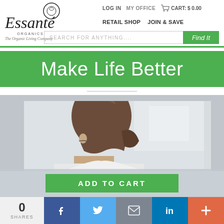[Figure (logo): Essante Organics logo - The Organic Living Company]
LOG IN   MY OFFICE   CART: $0.00
RETAIL SHOP   JOIN & SAVE
SEARCH FOR ANYTHING....
Make Life Better
[Figure (photo): Woman with brown hair pulled back, wearing glasses, seen from behind/side]
ADD TO CART
0
SHARES